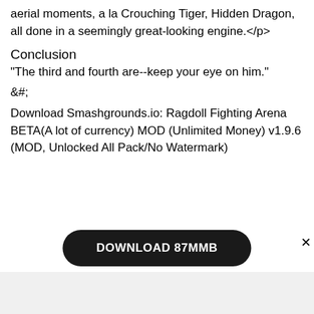aerial moments, a la Crouching Tiger, Hidden Dragon, all done in a seemingly great-looking engine.</p>
Conclusion
"The third and fourth are--keep your eye on him."
&#;
Download Smashgrounds.io: Ragdoll Fighting Arena BETA(A lot of currency) MOD (Unlimited Money) v1.9.6 (MOD, Unlocked All Pack/No Watermark)
[Figure (other): Black rounded rectangle download button with text DOWNLOAD 87MMB in white, and a close (x) button to the right]